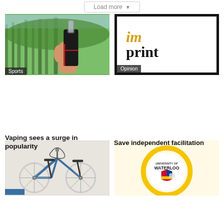Load more
[Figure (photo): Hand holding a vape/e-cigarette device with forest background, labeled Sports]
Vaping sees a surge in popularity
[Figure (logo): imprint logo in a thick black border box - italic 'im' in gold/yellow and 'print' in black serif, labeled Opinion]
Save independent facilitation
[Figure (photo): Bicycle mounted on a wall]
[Figure (logo): University of Waterloo logo inside a yellow circle]